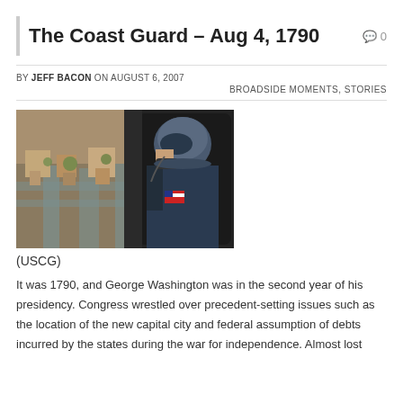The Coast Guard – Aug 4, 1790
BY JEFF BACON ON AUGUST 6, 2007
BROADSIDE MOMENTS, STORIES
[Figure (photo): A Coast Guard crew member in helmet and flight suit looks out from a helicopter window over a flooded city below. American flag patch visible on shoulder.]
(USCG)
It was 1790, and George Washington was in the second year of his presidency. Congress wrestled over precedent-setting issues such as the location of the new capital city and federal assumption of debts incurred by the states during the war for independence. Almost lost